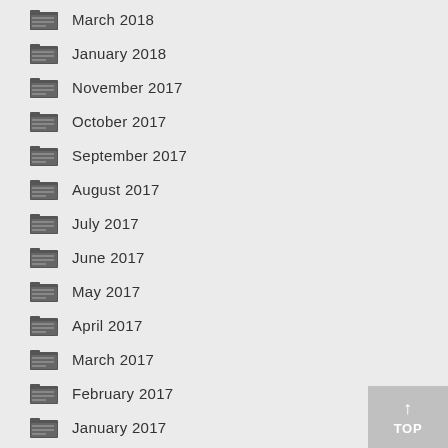March 2018
January 2018
November 2017
October 2017
September 2017
August 2017
July 2017
June 2017
May 2017
April 2017
March 2017
February 2017
January 2017
December 2016
November 2016